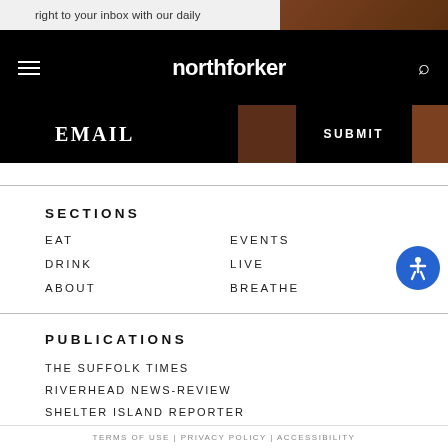right to your inbox with our daily
northforker
EMAIL  SUBMIT
SECTIONS
EAT
DRINK
ABOUT
EVENTS
LIVE
BREATHE
PUBLICATIONS
THE SUFFOLK TIMES
RIVERHEAD NEWS-REVIEW
SHELTER ISLAND REPORTER
TERMS OF USE | PRIVACY POLICY | ACCESSIBILITY